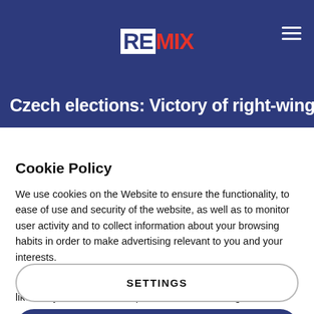[Figure (logo): REMIX logo: white box with dark blue RE text followed by red MIX text on dark blue background header bar]
Czech elections: Victory of right-wing
Cookie Policy
We use cookies on the Website to ensure the functionality, to ease of use and security of the website, as well as to monitor user activity and to collect information about your browsing habits in order to make advertising relevant to you and your interests.
Clicking on "Accept" you can allow all cookies. If you would like to reject or customize, please click on "Settings".
Read more: Cookie Policy